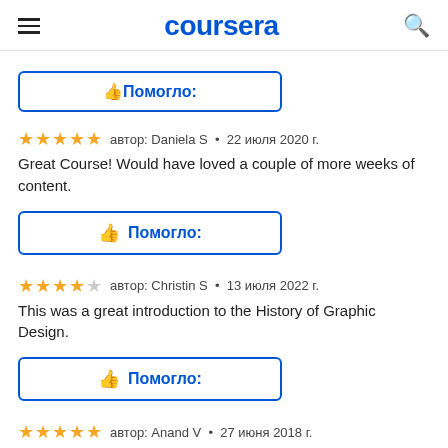coursera
[Figure (screenshot): Partial helpful button (top, cut off)]
автор: Daniela S • 22 июля 2020 г.
Great Course! Would have loved a couple of more weeks of content.
[Figure (screenshot): Helpful / Помогло button with thumbs up icon]
автор: Christin S • 13 июля 2022 г.
This was a great introduction to the History of Graphic Design.
[Figure (screenshot): Helpful / Помогло button with thumbs up icon]
автор: Anand V • 27 июня 2018 г.